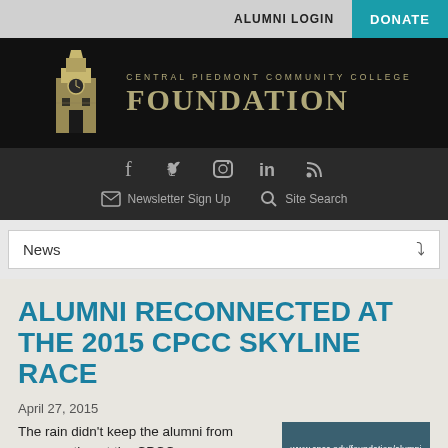ALUMNI LOGIN    DONATE
[Figure (logo): Central Piedmont Community College Foundation logo with clock tower illustration and gold text on black background]
[Figure (infographic): Social media icons (Facebook, Twitter, Instagram, LinkedIn, RSS) and links for Newsletter Sign Up and Site Search on dark background]
News
ALUMNI RECONNECTED AT THE 2015 CPCC SKYLINE RACE
April 27, 2015
The rain didn't keep the alumni from reconnecting at the CPCC
[Figure (screenshot): Image with URL www.cpcc.edu/foundation/alumni shown on dark background]